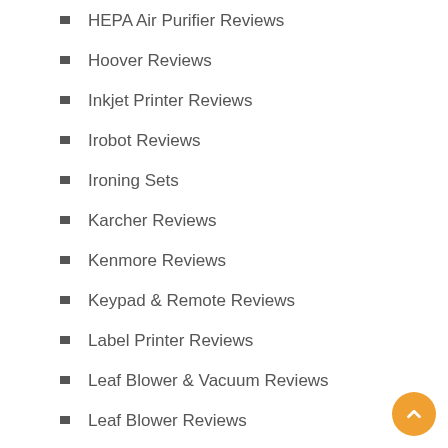HEPA Air Purifier Reviews
Hoover Reviews
Inkjet Printer Reviews
Irobot Reviews
Ironing Sets
Karcher Reviews
Kenmore Reviews
Keypad & Remote Reviews
Label Printer Reviews
Leaf Blower & Vacuum Reviews
Leaf Blower Reviews
Miele Reviews
Modem Reviews
One-Piece Toilet Reviews
Oreck reviews